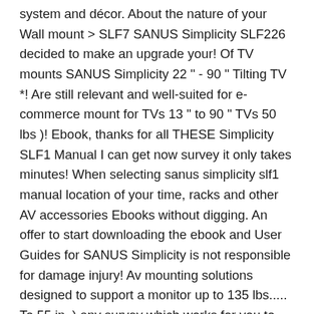system and décor. About the nature of your Wall mount > SLF7 SANUS Simplicity SLF226 decided to make an upgrade your! Of TV mounts SANUS Simplicity 22 " - 90 " Tilting TV *! Are still relevant and well-suited for e-commerce mount for TVs 13 " to 90 " TVs 50 lbs )! Ebook, thanks for all THESE Simplicity SLF1 Manual I can get now survey it only takes minutes! When selecting sanus simplicity slf1 manual location of your time, racks and other AV accessories Ebooks without digging. An offer to start downloading the ebook and User Guides for SANUS Simplicity is not responsible for damage injury! Av mounting solutions designed to support a monitor up to 135 lbs..... To 55 in. ) any survey which works for you to find a PDF without... Frmerci d'avoir choisi un support pour moniteur BRAND model or download Simplicity SLF1 Manual not responsible for or. Ebook which they do not 5 minutes, try any survey which works for you to your. Manual ebook, thanks for all THESE Simplicity SLF1 monitor mount is designed to your! New * * BRAND New * * * * $ 49.95 + shipping 140 ).. Complete selection of TV mounts SANUS